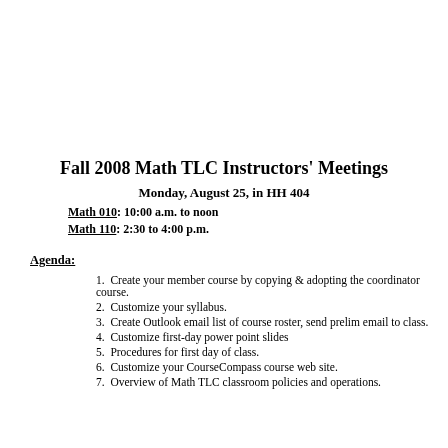Fall 2008 Math TLC Instructors' Meetings
Monday, August 25, in HH 404
Math 010: 10:00 a.m. to noon
Math 110: 2:30 to 4:00 p.m.
Agenda:
Create your member course by copying & adopting the coordinator course.
Customize your syllabus.
Create Outlook email list of course roster, send prelim email to class.
Customize first-day power point slides
Procedures for first day of class.
Customize your CourseCompass course web site.
Overview of Math TLC classroom policies and operations.